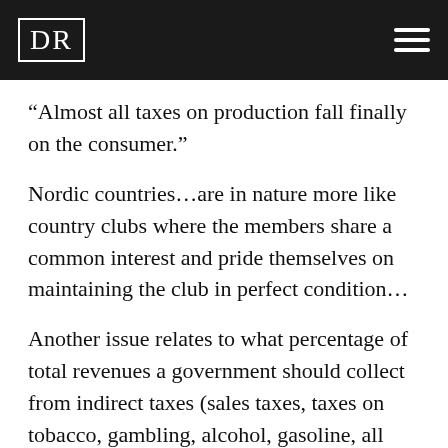DR
“Almost all taxes on production fall finally on the consumer.”
Nordic countries…are in nature more like country clubs where the members share a common interest and pride themselves on maintaining the club in perfect condition…
Another issue relates to what percentage of total revenues a government should collect from indirect taxes (sales taxes, taxes on tobacco, gambling, alcohol, gasoline, all kinds of transaction taxes, and import duties), which tend to be somewhat regressive, and how much it should raise through direct taxes (income, capital gains, property taxes…